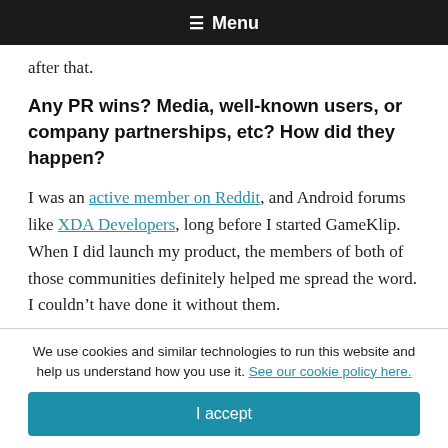☰ Menu
after that.
Any PR wins? Media, well-known users, or company partnerships, etc? How did they happen?
I was an active member on Reddit, and Android forums like XDA Developers, long before I started GameKlip. When I did launch my product, the members of both of those communities definitely helped me spread the word. I couldn't have done it without them.
The GameKlip has been featured on Gizmodo, The Verge,
We use cookies and similar technologies to run this website and help us understand how you use it. See our cookie policy here.
I accept
I didn't...